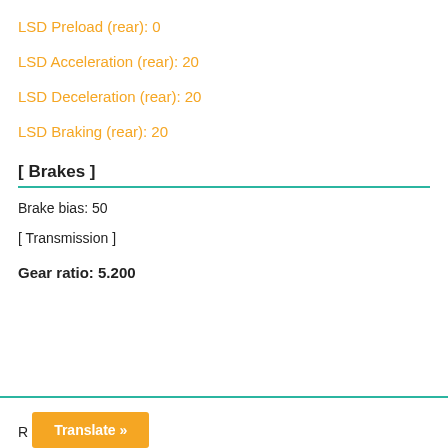LSD Preload (rear): 0
LSD Acceleration (rear): 20
LSD Deceleration (rear): 20
LSD Braking (rear): 20
[ Brakes ]
Brake bias: 50
[ Transmission ]
Gear ratio: 5.200
Translate »